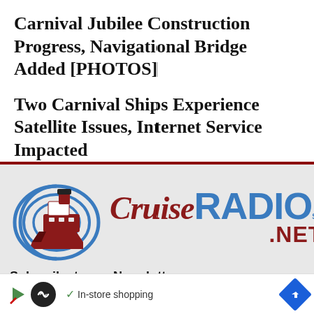Carnival Jubilee Construction Progress, Navigational Bridge Added [PHOTOS]
Two Carnival Ships Experience Satellite Issues, Internet Service Impacted
[Figure (logo): Cruise Radio .NET logo with cruise ship graphic on the left and stylized text on the right]
Subscribe to our Newsletter